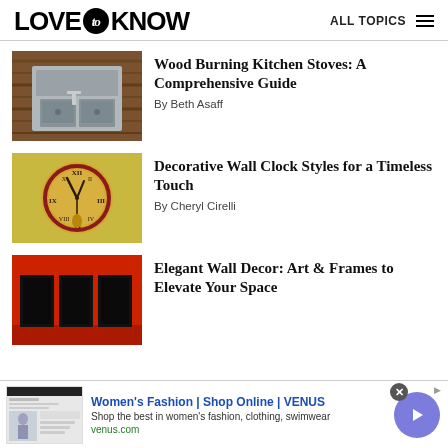LOVE to KNOW — ALL TOPICS
[Figure (photo): Wood burning kitchen stove with stainless steel panels and sink against a wooden wall]
Wood Burning Kitchen Stoves: A Comprehensive Guide
By Beth Asaff
[Figure (photo): Decorative round wall clock with Roman numerals on a yellow wall]
Decorative Wall Clock Styles for a Timeless Touch
By Cheryl Cirelli
[Figure (photo): Red wall with black framed artwork panels]
Elegant Wall Decor: Art & Frames to Elevate Your Space
[Figure (screenshot): Advertisement: Women's Fashion | Shop Online | VENUS — Shop the best in women's fashion, clothing, swimwear — venus.com]